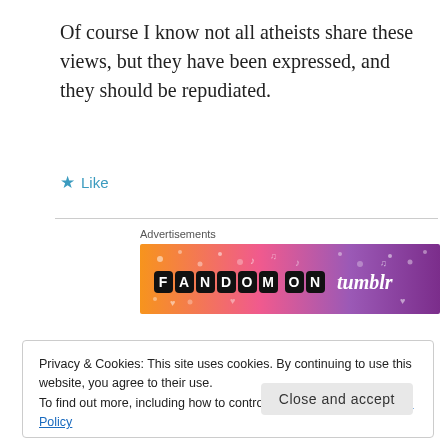Of course I know not all atheists share these views, but they have been expressed, and they should be repudiated.
★ Like
[Figure (other): Fandom on Tumblr advertisement banner with orange-to-purple gradient background and decorative icons]
Privacy & Cookies: This site uses cookies. By continuing to use this website, you agree to their use.
To find out more, including how to control cookies, see here: Cookie Policy
Close and accept